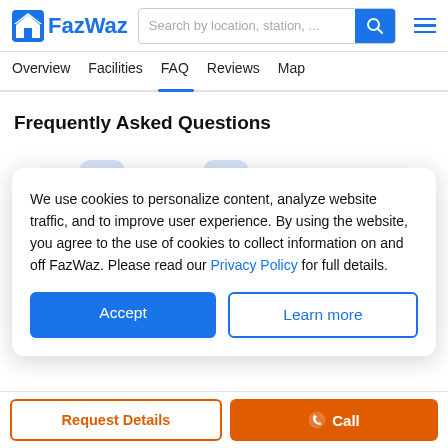FazWaz — Search by location, station, ...
Overview  Facilities  FAQ  Reviews  Map
Frequently Asked Questions
We use cookies to personalize content, analyze website traffic, and to improve user experience. By using the website, you agree to the use of cookies to collect information on and off FazWaz. Please read our Privacy Policy for full details.
Accept | Learn more
Request Details | Call